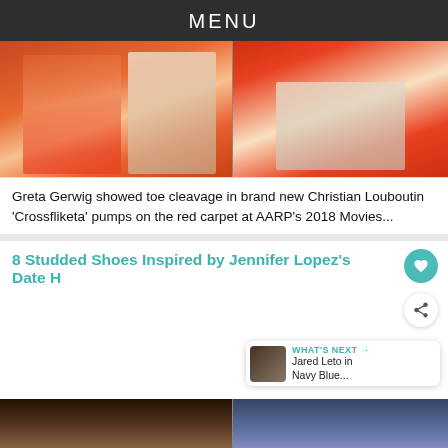MENU
[Figure (photo): Two women on red carpet, one in orange bow dress, one in white dress; close-up of orange satin dress hem with silver sparkly heels on red carpet]
Greta Gerwig showed toe cleavage in brand new Christian Louboutin 'Crossfliketa' pumps on the red carpet at AARP's 2018 Movies...
8 Studded Shoes Inspired by Jennifer Lopez's Date H
[Figure (photo): Photo of Jennifer Lopez and close-up of studded shoes / denim jeans with sandals]
WHAT'S NEXT → Jared Leto in Navy Blue...
[Figure (photo): Advertisement banner: cookies for kid cancer logo, heart-shaped cookie, 'your HOBBY is their HOPE' text]